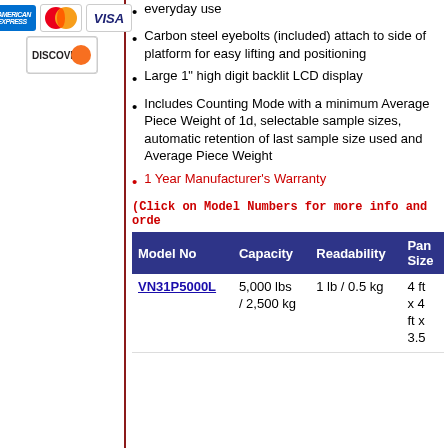[Figure (logo): Payment card logos: American Express, MasterCard, Visa, Discover]
everyday use
Carbon steel eyebolts (included) attach to side of platform for easy lifting and positioning
Large 1" high digit backlit LCD display
Includes Counting Mode with a minimum Average Piece Weight of 1d, selectable sample sizes, automatic retention of last sample size used and Average Piece Weight
1 Year Manufacturer's Warranty
(Click on Model Numbers for more info and orde
| Model No | Capacity | Readability | Pan Size |
| --- | --- | --- | --- |
| VN31P5000L | 5,000 lbs / 2,500 kg | 1 lb / 0.5 kg | 4 ft x 4 ft x 3.5 |